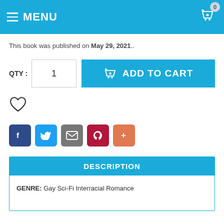MENU
This book was published on May 29, 2021..
[Figure (screenshot): QTY input field showing 1, and ADD TO CART button with basket icon]
[Figure (other): Heart/wishlist icon]
[Figure (other): Social share buttons: Facebook, Twitter, Email, Pinterest, More (+)]
DESCRIPTION
GENRE: Gay Sci-Fi Interracial Romance